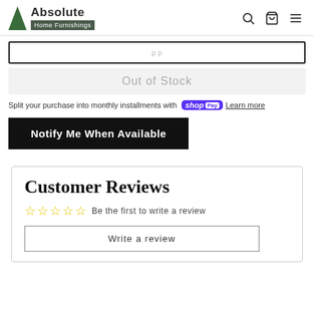Absolute Home Furnishings
Out of Stock
Split your purchase into monthly installments with Shop Pay Learn more
Notify Me When Available
Customer Reviews
☆☆☆☆☆ Be the first to write a review
Write a review